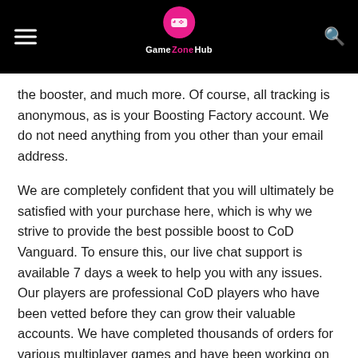GameZoneHub
the booster, and much more. Of course, all tracking is anonymous, as is your Boosting Factory account. We do not need anything from you other than your email address.
We are completely confident that you will ultimately be satisfied with your purchase here, which is why we strive to provide the best possible boost to CoD Vanguard. To ensure this, our live chat support is available 7 days a week to help you with any issues. Our players are professional CoD players who have been vetted before they can grow their valuable accounts. We have completed thousands of orders for various multiplayer games and have been working on CoD for many years. We are a recognized center for the improvement of CoD.